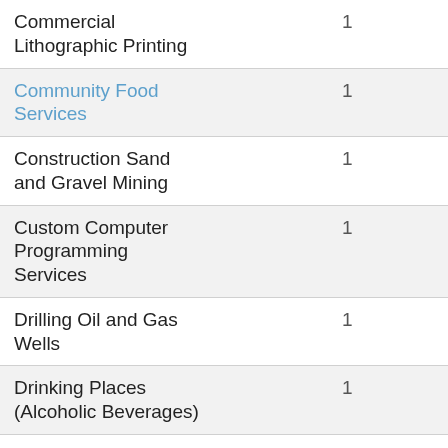| Industry | Count |
| --- | --- |
| Commercial Lithographic Printing | 1 |
| Community Food Services | 1 |
| Construction Sand and Gravel Mining | 1 |
| Custom Computer Programming Services | 1 |
| Drilling Oil and Gas Wells | 1 |
| Drinking Places (Alcoholic Beverages) | 1 |
| Electrical Contractors | 1 |
| Elementary and Secondary Schools | 1 |